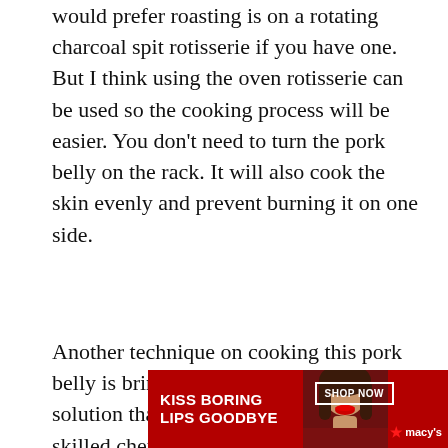would prefer roasting is on a rotating charcoal spit rotisserie if you have one. But I think using the oven rotisserie can be used so the cooking process will be easier. You don't need to turn the pork belly on the rack. It will also cook the skin evenly and prevent burning it on one side.
Another technique on cooking this pork belly is brining the meat. Brine is a salt solution that is use to brine meat by skilled chef to enhance the flavor and moisture of the meat. Although brine is only composed of water and salt, which is enough to make [obscured] herbs and [obscured]
[Figure (other): Advertisement overlay: Macy's ad with 'KISS BORING LIPS GOODBYE' text, woman's face with red lips, 'SHOP NOW' button, Macy's star logo, and 'CLOSE' button]